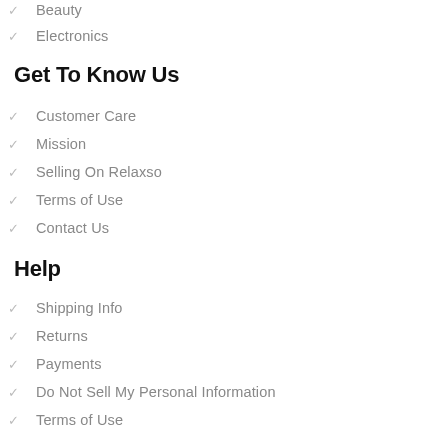Beauty
Electronics
Get To Know Us
Customer Care
Mission
Selling On Relaxso
Terms of Use
Contact Us
Help
Shipping Info
Returns
Payments
Do Not Sell My Personal Information
Terms of Use